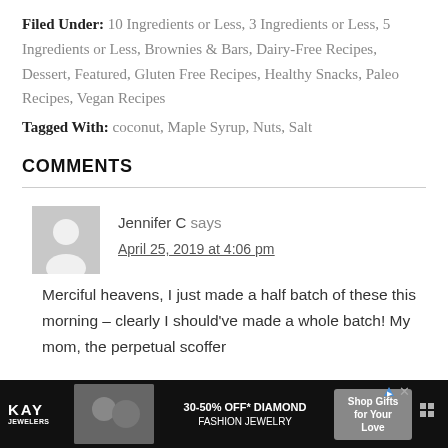Filed Under: 10 Ingredients or Less, 3 Ingredients or Less, 5 Ingredients or Less, Brownies & Bars, Dairy-Free Recipes, Dessert, Featured, Gluten Free Recipes, Healthy Snacks, Paleo Recipes, Vegan Recipes
Tagged With: coconut, Maple Syrup, Nuts, Salt
COMMENTS
Jennifer C says
April 25, 2019 at 4:06 pm
Merciful heavens, I just made a half batch of these this morning – clearly I should've made a whole batch! My mom, the perpetual scoffer
[Figure (photo): Advertisement banner for Kay Jewelers - 30-50% off diamond fashion jewelry with a couple photo]